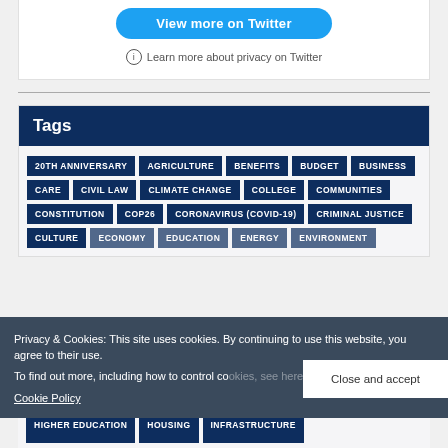[Figure (screenshot): Twitter embed card with 'View more on Twitter' button and privacy info link]
Learn more about privacy on Twitter
Tags
20TH ANNIVERSARY
AGRICULTURE
BENEFITS
BUDGET
BUSINESS
CARE
CIVIL LAW
CLIMATE CHANGE
COLLEGE
COMMUNITIES
CONSTITUTION
COP26
CORONAVIRUS (COVID-19)
CRIMINAL JUSTICE
CULTURE
ECONOMY
EDUCATION
ENERGY
ENVIRONMENT
Privacy & Cookies: This site uses cookies. By continuing to use this website, you agree to their use. To find out more, including how to control cookies, see here: Cookie Policy
HIGHER EDUCATION
HOUSING
INFRASTRUCTURE